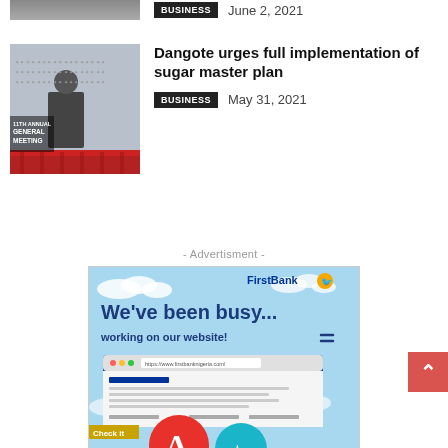[Figure (photo): Partial photo at top left, cropped]
BUSINESS   June 2, 2021
[Figure (photo): Dangote Annual General Meeting photo — person at podium with branded backdrop]
Dangote urges full implementation of sugar master plan
BUSINESS   May 31, 2021
- Advertisment -
[Figure (illustration): FirstBank advertisement banner: 'We've been busy... working on our website!' with browser mockup and logo]